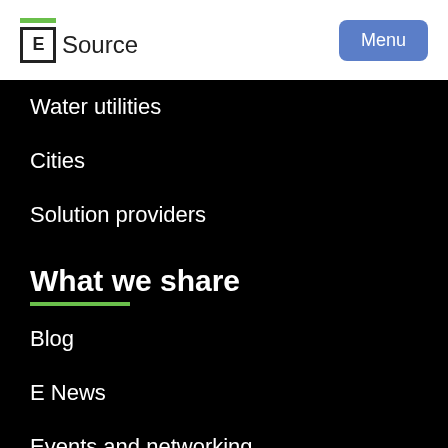E Source | Menu
Water utilities
Cities
Solution providers
What we share
Blog
E News
Events and networking
In the news